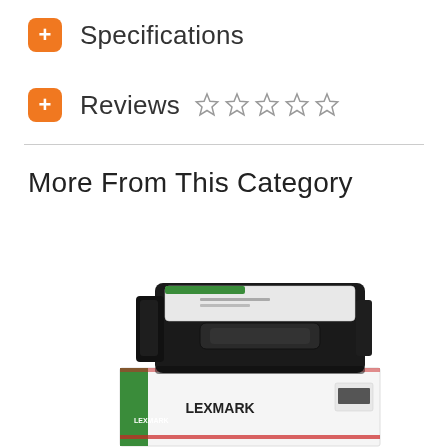+ Specifications
+ Reviews ☆☆☆☆☆
More From This Category
[Figure (photo): Lexmark black toner cartridge sitting on top of its retail box. The box is white with green and red accents and shows the Lexmark logo and brand name.]